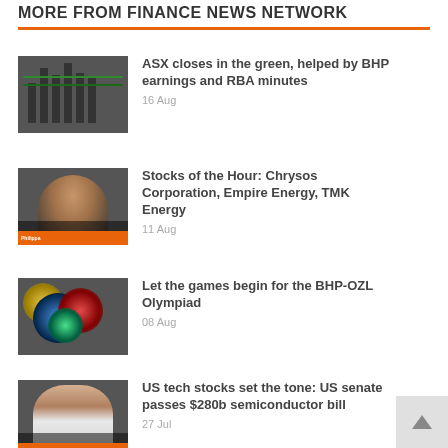MORE FROM FINANCE NEWS NETWORK
[Figure (photo): Thumbnail showing stock market bars/graph with green tones]
ASX closes in the green, helped by BHP earnings and RBA minutes
16 Aug
[Figure (photo): Thumbnail showing female presenter in front of mining site background with orange lower-third label]
Stocks of the Hour: Chrysos Corporation, Empire Energy, TMK Energy
11 Aug
[Figure (photo): Thumbnail showing colorful particle collision/physics image on black background]
Let the games begin for the BHP-OZL Olympiad
08 Aug
[Figure (photo): Thumbnail showing male presenter in front of open pit mine with orange lower-third label]
US tech stocks set the tone: US senate passes $280b semiconductor bill
27 Jul